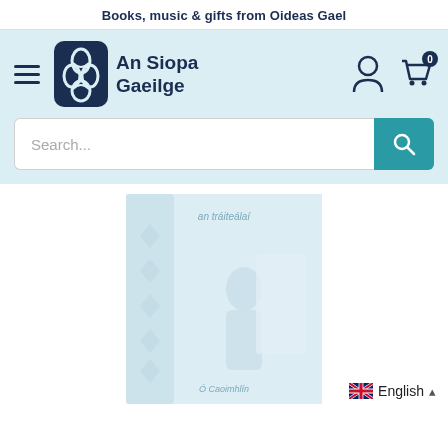Books, music & gifts from Oideas Gael
[Figure (logo): An Siopa Gaeilge logo with Celtic knot icon and text 'An Siopa Gaeilge']
[Figure (screenshot): Search bar with placeholder text 'Search...' and teal search button with magnifying glass icon]
[Figure (photo): Book cover image - partially visible, light blue/white tones, showing a figure silhouette and Irish text]
English